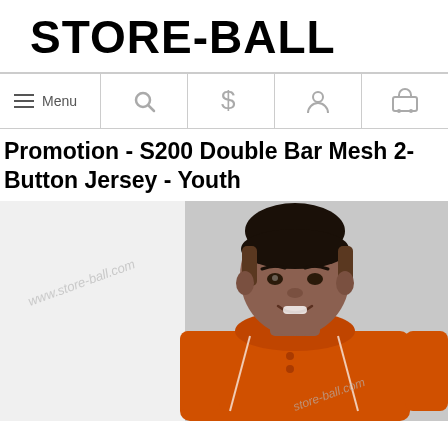STORE-BALL
Menu | Search | $ | Account | Cart
Promotion - S200 Double Bar Mesh 2-Button Jersey - Youth
[Figure (photo): A youth boy wearing an orange 2-button baseball jersey with white trim, posing against a gray background. Watermark text reads www.store-ball.com overlaid on the image.]